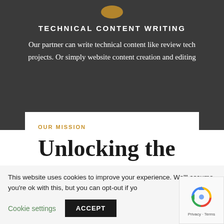[Figure (logo): Small orange/gold circular icon at top of dark section]
TECHNICAL CONTENT WRITING
Our partner can write technical content like review tech projects. Or simply website content creation and editing
OUR MISSION
Unlocking the
This website uses cookies to improve your experience. We'll assume you're ok with this, but you can opt-out if yo
Cookie settings
ACCEPT